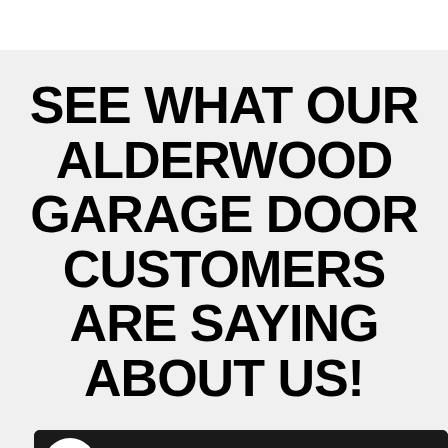SEE WHAT OUR ALDERWOOD GARAGE DOOR CUSTOMERS ARE SAYING ABOUT US!
[Figure (screenshot): A YouTube/Google video card for 'Garage Door Toronto' channel showing a logo circle, channel name, three-dot menu, and a thumbnail image of a house with a garage door and dark roof. A green phone button is overlaid at the bottom left.]